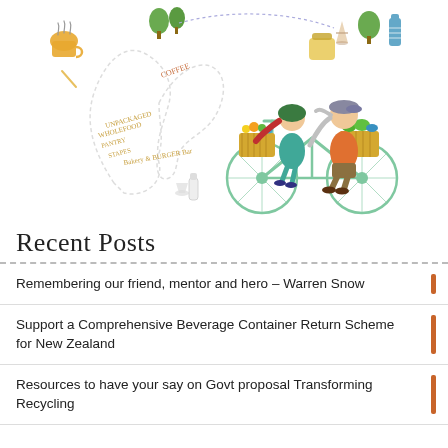[Figure (illustration): Colorful illustration of two people riding a tandem bicycle with baskets of produce, surrounded by dashed-line map outlines, trees, coffee cups, reusable bottles, and handwritten text about bakeries, unpackaged pantry items, and wholefood stores.]
Recent Posts
Remembering our friend, mentor and hero – Warren Snow
Support a Comprehensive Beverage Container Return Scheme for New Zealand
Resources to have your say on Govt proposal Transforming Recycling